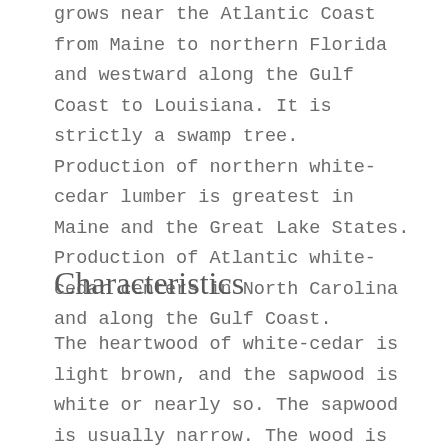grows near the Atlantic Coast from Maine to northern Florida and westward along the Gulf Coast to Louisiana. It is strictly a swamp tree. Production of northern white-cedar lumber is greatest in Maine and the Great Lake States. Production of Atlantic white-cedar centers in North Carolina and along the Gulf Coast.
Characteristics
The heartwood of white-cedar is light brown, and the sapwood is white or nearly so. The sapwood is usually narrow. The wood is lightweight, rather soft, and low in strength and shock resistance. It shrinks little in drying. It is easily worked and holds